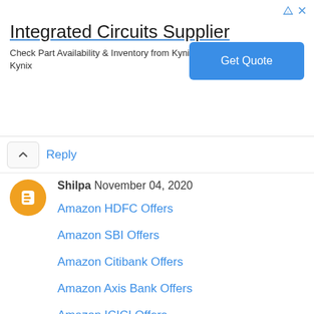[Figure (other): Advertisement banner for Integrated Circuits Supplier - Kynix. Shows title 'Integrated Circuits Supplier', subtitle 'Check Part Availability & Inventory from Kynix Kynix', and a blue 'Get Quote' button. Has ad indicator icons top right.]
Reply
Shilpa November 04, 2020
Amazon HDFC Offers
Amazon SBI Offers
Amazon Citibank Offers
Amazon Axis Bank Offers
Amazon ICICI Offers
Amazon Yes Bank Offers
Amazon Bank of Baroda Offers